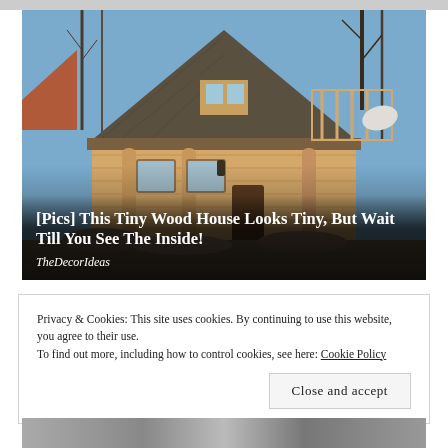[Figure (photo): Photograph of a small wooden log cabin-style house with a steep triangular roof, dormer window, covered porch with log columns, and a satellite dish visible. Trees in background, winter/bare trees, blue sky. Overlay text on image: title and source.]
[Pics] This Tiny Wood House Looks Tiny, But Wait Till You See The Inside!
TheDecorIdeas
Privacy & Cookies: This site uses cookies. By continuing to use this website, you agree to their use.
To find out more, including how to control cookies, see here: Cookie Policy
Close and accept
[Figure (photo): Bottom strip showing partial photograph, partially cut off at page bottom.]